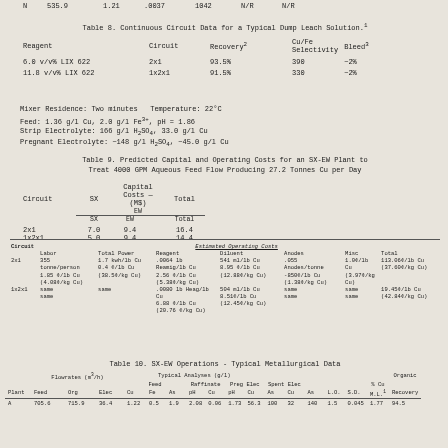|  | N | 535.9 | 1.21 | .0037 | 1042 | N/R | N/R |
| --- | --- | --- | --- | --- | --- | --- | --- |
Table 8. Continuous Circuit Data for a Typical Dump Leach Solution.1
| Reagent | Circuit | Recovery2 | Cu/Fe Selectivity | Bleed3 |
| --- | --- | --- | --- | --- |
| 6.0 v/v% LIX 622 | 2x1 | 93.5% | 390 | ~2% |
| 11.8 v/v% LIX 622 | 1x2x1 | 91.5% | 330 | ~2% |
Mixer Residence: Two minutes  Temperature: 22°C
Feed: 1.36 g/l Cu, 2.0 g/l Fe3+, pH = 1.86
Strip Electrolyte: 166 g/l H2SO4, 33.0 g/l Cu
Pregnant Electrolyte: ~148 g/l H2SO4, ~45.0 g/l Cu
Table 9. Predicted Capital and Operating Costs for an SX-EW Plant to Treat 4000 GPM Aqueous Feed Flow Producing 27.2 Tonnes Cu per Day
| Circuit | Capital Costs — (M$) |  |  |  |
| --- | --- | --- | --- | --- |
|  | SX | EW | Total |  |
| 2x1 | 7.0 | 9.4 | 16.4 |  |
| 1x2x1 | 5.0 | 9.4 | 14.4 |  |
| Circuit | Labor | Total Power | Reagent | Estimated Operating Costs — Diluent | Anodes | Misc | Total |
| --- | --- | --- | --- | --- | --- | --- | --- |
| 2x1 | 355 tonne/person 1.85 ¢/lb Cu (4.08¢/kg Cu) | 1.7 kwh/lb Cu 0.4 ¢/lb Cu (38.5¢/kg Cu) | .0064 lb Reamig/lb Cu 2.56 ¢/lb Cu (5.38¢/kg Cu) | 541 ml/lb Cu 8.95 ¢/lb Cu (12.88¢/kg Cu) | .055 Anodes/tonne -850¢/lb Cu (1.38¢/kg Cu) | 1.0¢/lb Cu (3.97¢/kg Cu) | 113.06¢/lb Cu (37.60¢/kg Cu) |
| 1x2x1 | same same | same | .0080 lb Heag/lb Cu 6.88 ¢/lb Cu (20.76 ¢/kg Cu) | 504 ml/lb Cu 8.51¢/lb Cu (12.45¢/kg Cu) | same same | same same | 19.45¢/lb Cu (42.84¢/kg Cu) |
Table 10. SX-EW Operations - Typical Metallurgical Data
| Plant | Flowrates (m3/h) Feed Org Elec | Typical Analyses (g/l) — Feed Cu Fe As pH | Raffinate Cu pH | Preg Elec Cu As | Spent Elec Cu As | Organic L.O. S.D. M.L.1 | % Cu Recovery |
| --- | --- | --- | --- | --- | --- | --- | --- |
| A | 705.6  715.9  36.4  1.22  0.5  1.9  2.08  0.06  1.73  56.3  100  32  140  1.5  0.045  1.77  94.5 |  |  |  |  |  |  |